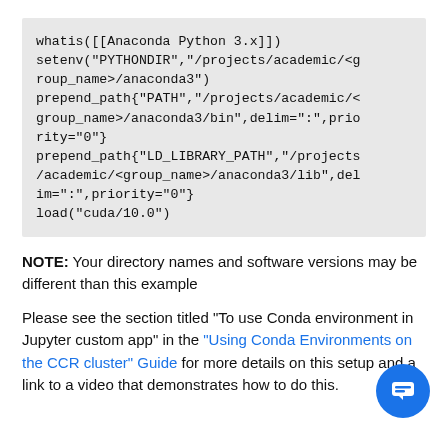whatis([[Anaconda Python 3.x]])
setenv("PYTHONDIR","/projects/academic/<group_name>/anaconda3")
prepend_path{"PATH","/projects/academic/<group_name>/anaconda3/bin",delim=":",priority="0"}
prepend_path{"LD_LIBRARY_PATH","/projects/academic/<group_name>/anaconda3/lib",delim=":",priority="0"}
load("cuda/10.0")
NOTE: Your directory names and software versions may be different than this example
Please see the section titled "To use Conda environment in Jupyter custom app" in the "Using Conda Environments on the CCR cluster" Guide for more details on this setup and a  link to a video that demonstrates how to do this.